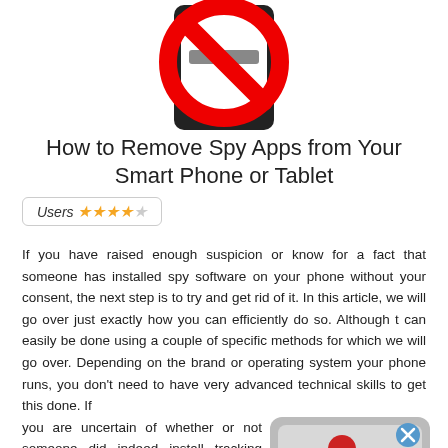[Figure (illustration): Phone with a red no-symbol (circle with diagonal slash) overlaid on it, indicating prohibition of spy apps]
How to Remove Spy Apps from Your Smart Phone or Tablet
Users ★★★★☆
If you have raised enough suspicion or know for a fact that someone has installed spy software on your phone without your consent, the next step is to try and get rid of it. In this article, we will go over just exactly how you can efficiently do so. Although t can easily be done using a couple of specific methods for which we will go over. Depending on the brand or operating system your phone runs, you don't need to have very advanced technical skills to get this done. If you are uncertain of whether or not someone did indeed install tracking programs on your
[Figure (illustration): Red figure/person with a blue X button on a gray rounded-rectangle background, representing removal of spy app or tracking software]